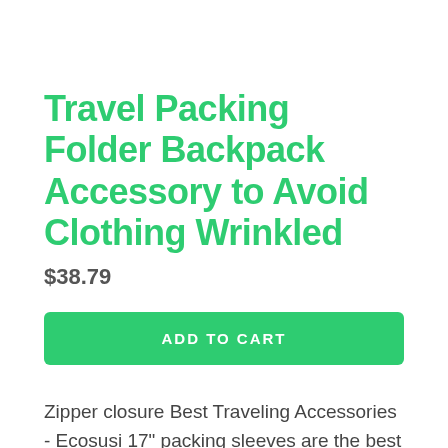Travel Packing Folder Backpack Accessory to Avoid Clothing Wrinkled
$38.79
ADD TO CART
Zipper closure Best Traveling Accessories - Ecosusi 17" packing sleeves are the best packing supplies for organizing any luggage. Neatly store up to 4-8 clothing items. including t-shirts. dresses or blouses without any wrinkle free. Maximize Your